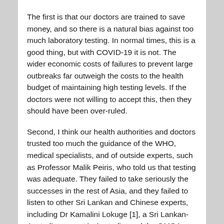The first is that our doctors are trained to save money, and so there is a natural bias against too much laboratory testing. In normal times, this is a good thing, but with COVID-19 it is not. The wider economic costs of failures to prevent large outbreaks far outweigh the costs to the health budget of maintaining high testing levels. If the doctors were not willing to accept this, then they should have been over-ruled.
Second, I think our health authorities and doctors trusted too much the guidance of the WHO, medical specialists, and of outside experts, such as Professor Malik Peiris, who told us that testing was adequate. They failed to take seriously the successes in the rest of Asia, and they failed to listen to other Sri Lankan and Chinese experts, including Dr Kamalini Lokuge [1], a Sri Lankan-Australian expert in Australia, and the GMOA who argued that much more testing was